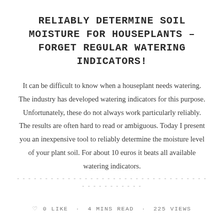RELIABLY DETERMINE SOIL MOISTURE FOR HOUSEPLANTS – FORGET REGULAR WATERING INDICATORS!
It can be difficult to know when a houseplant needs watering. The industry has developed watering indicators for this purpose. Unfortunately, these do not always work particularly reliably. The results are often hard to read or ambiguous. Today I present you an inexpensive tool to reliably determine the moisture level of your plant soil. For about 10 euros it beats all available watering indicators.
0 LIKE · 4 MINS READ · 225 VIEWS